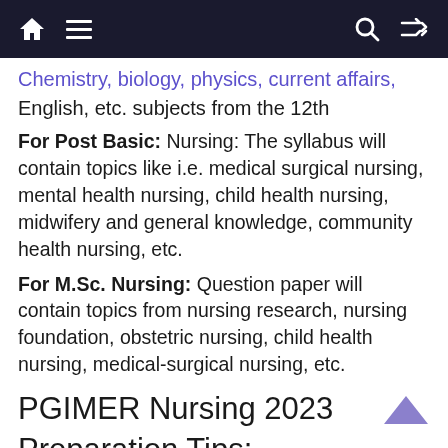Navigation bar with home, menu, search and shuffle icons
Chemistry, biology, physics, current affairs, English, etc. subjects from the 12th
For Post Basic: Nursing: The syllabus will contain topics like i.e. medical surgical nursing, mental health nursing, child health nursing, midwifery and general knowledge, community health nursing, etc.
For M.Sc. Nursing: Question paper will contain topics from nursing research, nursing foundation, obstetric nursing, child health nursing, medical-surgical nursing, etc.
PGIMER Nursing 2023
Preparation Tips: